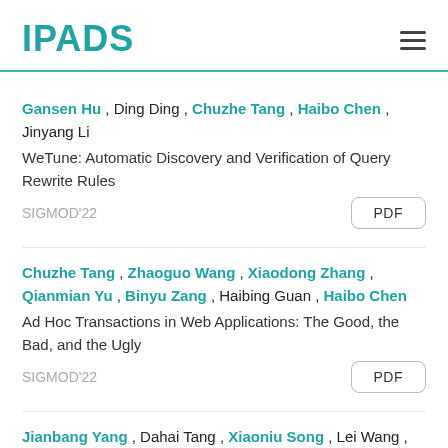IPADS
Gansen Hu , Ding Ding , Chuzhe Tang , Haibo Chen , Jinyang Li
WeTune: Automatic Discovery and Verification of Query Rewrite Rules
SIGMOD'22
Chuzhe Tang , Zhaoguo Wang , Xiaodong Zhang , Qianmian Yu , Binyu Zang , Haibing Guan , Haibo Chen
Ad Hoc Transactions in Web Applications: The Good, the Bad, and the Ugly
SIGMOD'22
Jianbang Yang , Dahai Tang , Xiaoniu Song , Lei Wang , Qiang Yin , Rong Chen , Wenyuan Yu , Jingren Zhou
GNNLab: A Factored System for Sample-based GNN Training ...